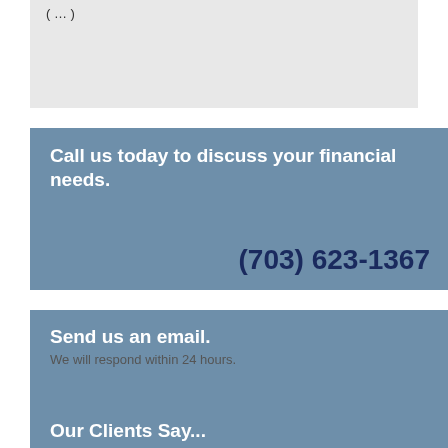(...)
Call us today to discuss your financial needs.
(703) 623-1367
Send us an email.
We will respond within 24 hours.
jmoran@moranafc.com
Our Clients Say...